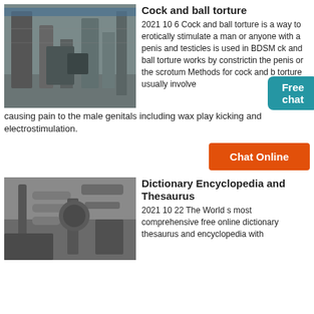[Figure (photo): Industrial machinery/mill equipment with pipes, silos and metal structures outdoors]
Cock and ball torture
2021 10 6 Cock and ball torture is a way to erotically stimulate a man or anyone with a penis and testicles is used in BDSM ck and ball torture works by constricting the penis or the scrotum Methods for cock and ball torture usually involve causing pain to the male genitals including wax play kicking and electrostimulation.
Chat Online
[Figure (photo): Industrial machinery/mill equipment with large pipes and metal structures indoors]
Dictionary Encyclopedia and Thesaurus
2021 10 22 The World s most comprehensive free online dictionary thesaurus and encyclopedia with